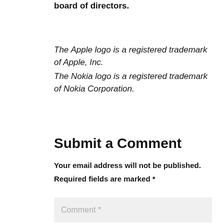board of directors.
The Apple logo is a registered trademark of Apple, Inc.
The Nokia logo is a registered trademark of Nokia Corporation.
Submit a Comment
Your email address will not be published. Required fields are marked *
Comment *